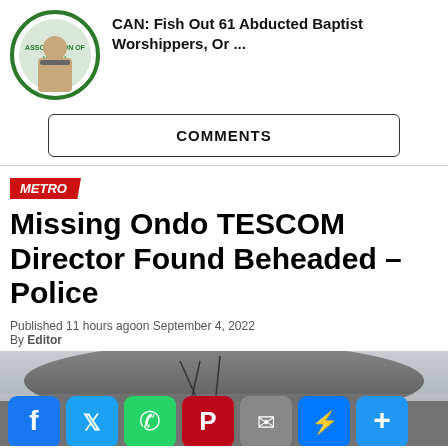CAN: Fish Out 61 Abducted Baptist Worshippers, Or ...
COMMENTS
METRO
Missing Ondo TESCOM Director Found Beheaded – Police
Published 11 hours agoon September 4, 2022
By Editor
[Figure (photo): Outdoor photo scene with rooftop or rock formation visible, partially obscured. Social media share bar at bottom with Facebook, Twitter, WhatsApp, Pinterest, Email, Messenger, and share buttons.]